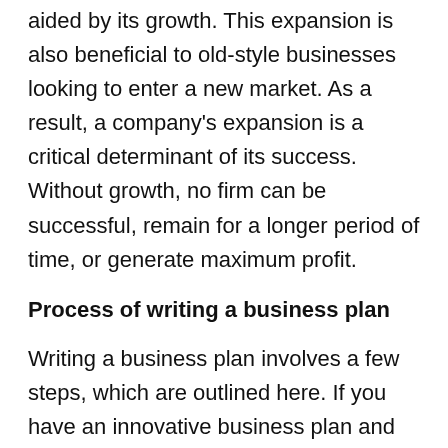aided by its growth. This expansion is also beneficial to old-style businesses looking to enter a new market. As a result, a company's expansion is a critical determinant of its success. Without growth, no firm can be successful, remain for a longer period of time, or generate maximum profit.
Process of writing a business plan
Writing a business plan involves a few steps, which are outlined here. If you have an innovative business plan and want to develop it, follow these steps.